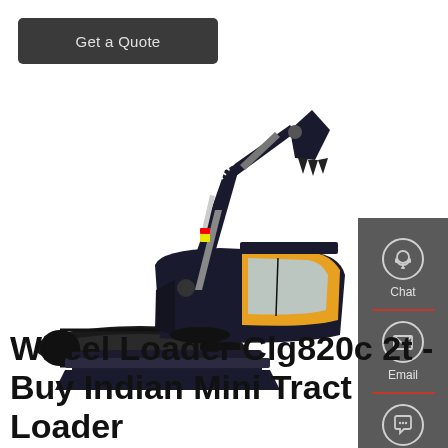Get a Quote
[Figure (photo): Hyundai mini excavator/track loader with yellow cab and black boom arm, shown on white background]
[Figure (infographic): Side panel with Chat, Email, and Contact icons on dark grey background with red dividers]
Wheel Loader Clg820c 2t - Buy Indian Mini Tract Loader